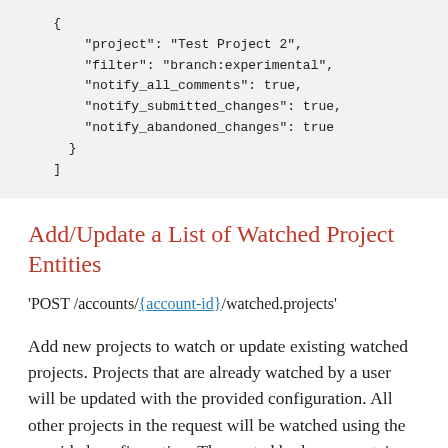{
    "project": "Test Project 2",
    "filter": "branch:experimental",
    "notify_all_comments": true,
    "notify_submitted_changes": true,
    "notify_abandoned_changes": true
  }
]
Add/Update a List of Watched Project Entities
'POST /accounts/{account-id}/watched.projects'
Add new projects to watch or update existing watched projects. Projects that are already watched by a user will be updated with the provided configuration. All other projects in the request will be watched using the provided configuration. The posted body can contain ProjectWatchInfo entities